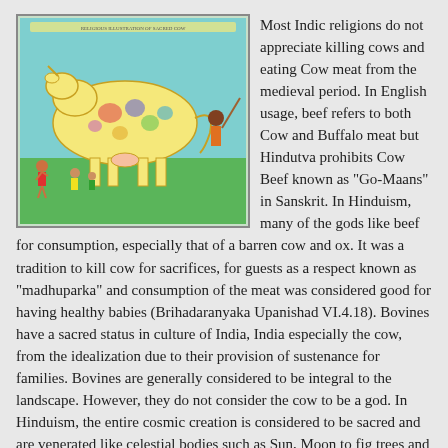[Figure (illustration): A traditional Indian illustration depicting a cow decorated with religious imagery, surrounded by Hindu deities and figures, with figures worshipping on a green background.]
Most Indic religions do not appreciate killing cows and eating Cow meat from the medieval period. In English usage, beef refers to both Cow and Buffalo meat but Hindutva prohibits Cow Beef known as "Go-Maans" in Sanskrit. In Hinduism, many of the gods like beef for consumption, especially that of a barren cow and ox. It was a tradition to kill cow for sacrifices, for guests as a respect known as "madhuparka" and consumption of the meat was considered good for having healthy babies (Brihadaranyaka Upanishad VI.4.18). Bovines have a sacred status in culture of India, India especially the cow, from the idealization due to their provision of sustenance for families. Bovines are generally considered to be integral to the landscape. However, they do not consider the cow to be a god. In Hinduism, the entire cosmic creation is considered to be sacred and are venerated like celestial bodies such as Sun, Moon to fig trees and rivers like Ganga river. Ganga, Saraswati